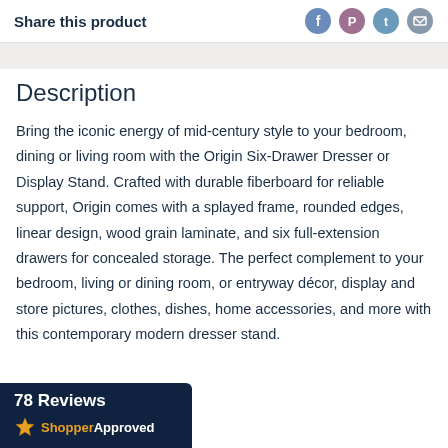Share this product
Description
Bring the iconic energy of mid-century style to your bedroom, dining or living room with the Origin Six-Drawer Dresser or Display Stand. Crafted with durable fiberboard for reliable support, Origin comes with a splayed frame, rounded edges, linear design, wood grain laminate, and six full-extension drawers for concealed storage. The perfect complement to your bedroom, living or dining room, or entryway décor, display and store pictures, clothes, dishes, home accessories, and more with this contemporary modern dresser stand.
[Figure (logo): Shopper Approved badge with 78 Reviews and star icon]